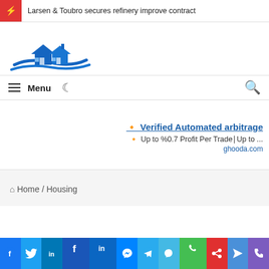Larsen & Toubro secures refinery improve contract
[Figure (logo): Housing/real estate website logo with blue house icons and wave]
Menu  (dark mode toggle)  (search icon)
[Figure (other): Advertisement: Verified Automated arbitrage - Up to %0.7 Profit Per Trade - Up to ... ghooda.com]
Home / Housing
[Figure (other): Social media sharing buttons bar: Facebook, Twitter, LinkedIn, Facebook, LinkedIn, Messenger, Telegram, Messenger, WhatsApp, Reddit, Send, Phone]